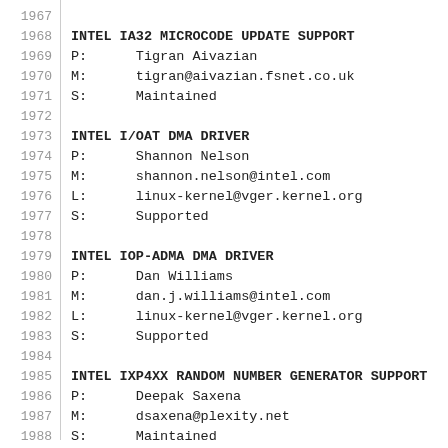1967
1968  INTEL IA32 MICROCODE UPDATE SUPPORT
1969  P:      Tigran Aivazian
1970  M:      tigran@aivazian.fsnet.co.uk
1971  S:      Maintained
1972
1973  INTEL I/OAT DMA DRIVER
1974  P:      Shannon Nelson
1975  M:      shannon.nelson@intel.com
1976  L:      linux-kernel@vger.kernel.org
1977  S:      Supported
1978
1979  INTEL IOP-ADMA DMA DRIVER
1980  P:      Dan Williams
1981  M:      dan.j.williams@intel.com
1982  L:      linux-kernel@vger.kernel.org
1983  S:      Supported
1984
1985  INTEL IXP4XX RANDOM NUMBER GENERATOR SUPPORT
1986  P:      Deepak Saxena
1987  M:      dsaxena@plexity.net
1988  S:      Maintained